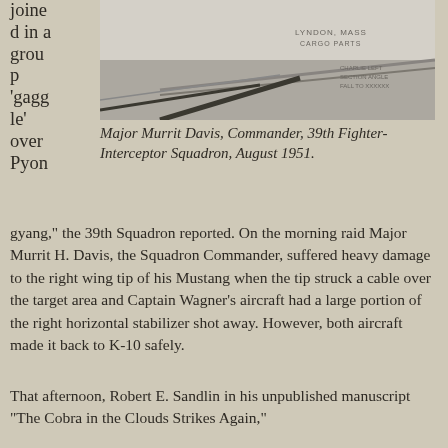joined in a group 'gaggle' over Pyongyang,
[Figure (photo): Black and white photograph of an aircraft or related military equipment, partially cropped at the top of the page.]
Major Murrit Davis, Commander, 39th Fighter-Interceptor Squadron, August 1951.
gyang," the 39th Squadron reported. On the morning raid Major Murrit H. Davis, the Squadron Commander, suffered heavy damage to the right wing tip of his Mustang when the tip struck a cable over the target area and Captain Wagner's aircraft had a large portion of the right horizontal stabilizer shot away. However, both aircraft made it back to K-10 safely.
That afternoon, Robert E. Sandlin in his unpublished manuscript “The Cobra in the Clouds Strikes Again,”